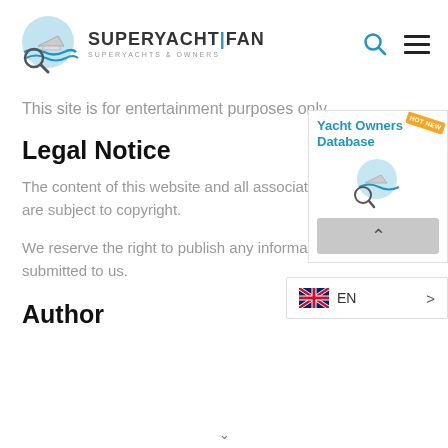[Figure (logo): SuperYacht Fan logo with magnifying glass and yacht illustration, text reads SUPERYACHT|FAN, SUPERYACHTS & OWNERS]
This site is for entertainment purposes only.
Legal Notice
The content of this website and all associate are subject to copyright.
We reserve the right to publish any information submitted to us.
[Figure (infographic): Yacht Owners Database widget with logo and HOT NEW badge and a scroll-to-top button]
[Figure (screenshot): Language selector showing EN with UK flag and chevron arrow]
Author